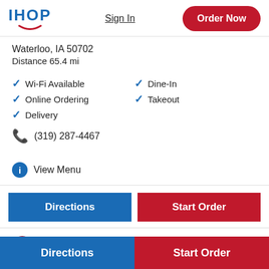IHOP | Sign In | Order Now
Waterloo, IA 50702
Distance 65.4 mi
Wi-Fi Available
Online Ordering
Delivery
Dine-In
Takeout
(319) 287-4467
View Menu
Directions
Start Order
My IHOP
Directions | Start Order